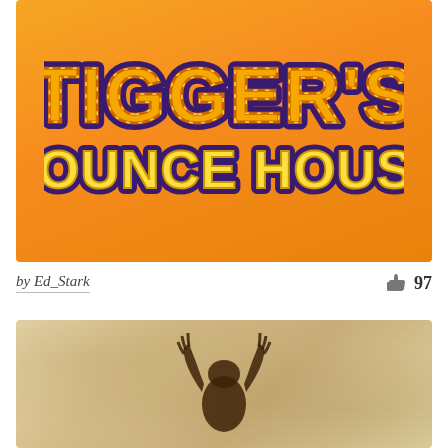[Figure (illustration): Tigger's Bounce House logo on an orange gradient background. Bold stylized text reads 'TIGGER'S' in orange letters with black/dark outlines, and 'BOUNCE HOUSE' in yellow letters with purple/dark outlines below.]
by Ed_Stark
97
[Figure (photo): A parchment or aged paper textured background with a dark brown silhouette or figure in the center, appearing to be a creature or character with raised arms/claws.]